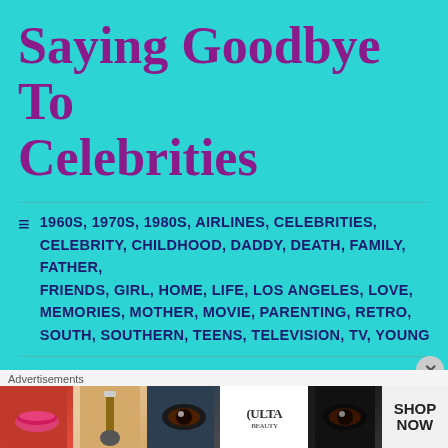Saying Goodbye To Celebrities
1960S, 1970S, 1980S, AIRLINES, CELEBRITIES, CELEBRITY, CHILDHOOD, DADDY, DEATH, FAMILY, FATHER, FRIENDS, GIRL, HOME, LIFE, LOS ANGELES, LOVE, MEMORIES, MOTHER, MOVIE, PARENTING, RETRO, SOUTH, SOUTHERN, TEENS, TELEVISION, TV, YOUNG
1990, 90210, BEVERLY HILLS, BLUE LAWS, CELEBRITIES, CHARLES KRAUTHAMMER, DADDY, DEATH, DYLAN MCKAY, FIRST LOVE, HEE HAW, JIM FOWLER, LAVERNE AND SHIRLEY, LONG-TERM MEMORY, LOSS, LOVE, LUKE
Advertisements